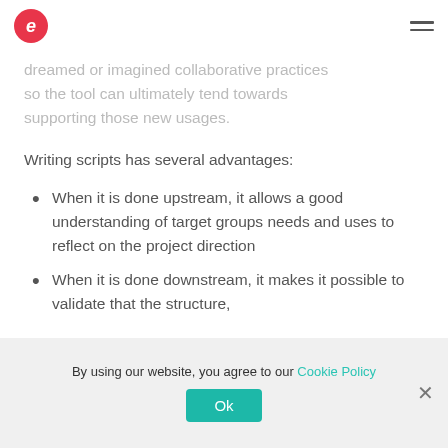e (logo) | hamburger menu
dreamed or imagined collaborative practices so the tool can ultimately tend towards supporting those new usages.
Writing scripts has several advantages:
When it is done upstream, it allows a good understanding of target groups needs and uses to reflect on the project direction
When it is done downstream, it makes it possible to validate that the structure,
By using our website, you agree to our Cookie Policy | Ok